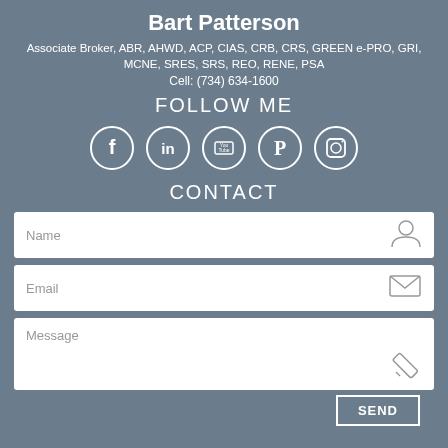Bart Patterson
Associate Broker, ABR, AHWD, ACP, CIAS, CRB, CRS, GREEN e-PRO, GRI, MCNE, SRES, SRS, REO, RENE, PSA
Cell: (734) 634-1600
FOLLOW ME
[Figure (infographic): Social media icons in circles: Facebook, LinkedIn, YouTube, Pinterest, Instagram]
CONTACT
[Figure (infographic): Contact form with Name field (person icon), Email field (envelope icon), Message field (pencil icon), and SEND button]